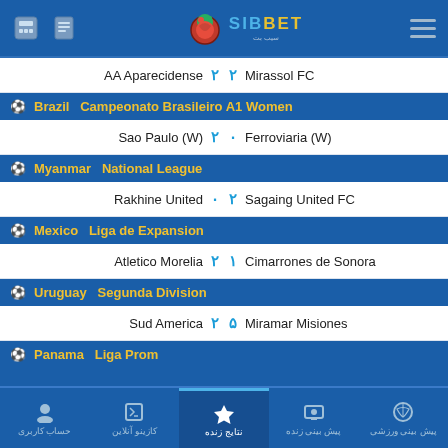SIB BET - Sports Betting App Header
AA Aparecidense 2 - 2 Mirassol FC
Brazil Campeonato Brasileiro A1 Women
Sao Paulo (W) 2 - 0 Ferroviaria (W)
Myanmar National League
Rakhine United 0 - 2 Sagaing United FC
Mexico Liga de Expansion
Atletico Morelia 2 - 1 Cimarrones de Sonora
Uruguay Segunda Division
Sud America 2 - 5 Miramar Misiones
Panama Liga Prom
حساب کاربری | کازینو آنلاین | نتایج زنده | پیش بینی زنده | پیش بینی ورزشی